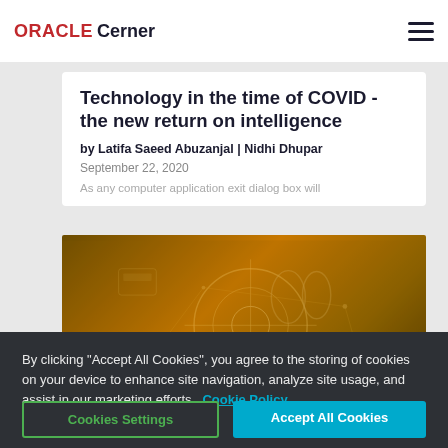ORACLE Cerner
Technology in the time of COVID - the new return on intelligence
by Latifa Saeed Abuzanjal | Nidhi Dhupar
September 22, 2020
As any computer application exit dialog box will
[Figure (photo): Healthcare/medical technology themed image with golden/amber tones showing medical imaging or patient monitoring visuals]
By clicking “Accept All Cookies”, you agree to the storing of cookies on your device to enhance site navigation, analyze site usage, and assist in our marketing efforts.  Cookie Policy
Cookies Settings
Accept All Cookies